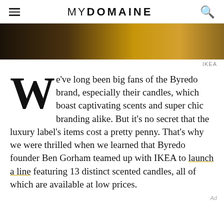MYDOMAINE
[Figure (photo): Close-up dark-toned photo of candles or related objects with warm amber tones]
IKEA
We've long been big fans of the Byredo brand, especially their candles, which boast captivating scents and super chic branding alike. But it's no secret that the luxury label's items cost a pretty penny. That's why we were thrilled when we learned that Byredo founder Ben Gorham teamed up with IKEA to launch a line featuring 13 distinct scented candles, all of which are available at low prices.
Ad